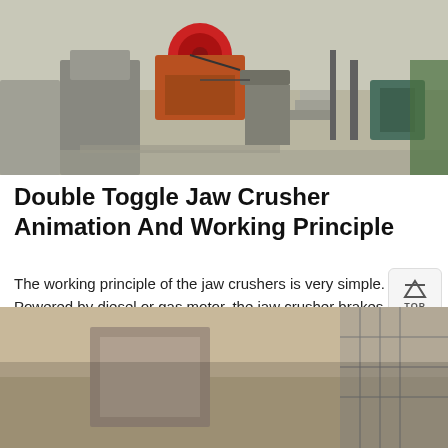[Figure (photo): Aerial/overhead view of jaw crusher machinery and industrial equipment on a construction or mining site, with orange and grey machinery components visible.]
Double Toggle Jaw Crusher Animation And Working Principle
The working principle of the jaw crushers is very simple. Powered by diesel or gas motor, the jaw crusher brakes materials in a crushing chamber. In the overhead eccentric jaw crushers, the pivot joint is located at the bottom of the chamber, while at the double toggle crushers, the pivot joint is on the top. The double toggle jaw.
[Figure (photo): Bottom banner showing a customer service agent photo on the left, with an orange pill-shaped bar containing Message and Online Chat buttons with a chat icon.]